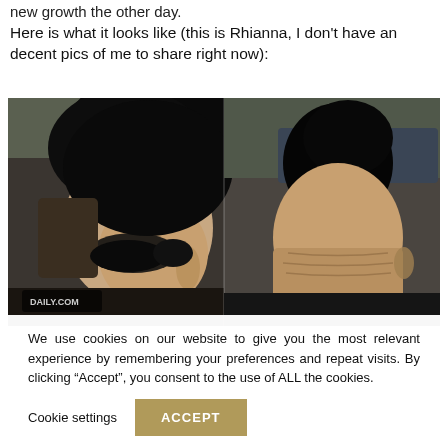new growth the other day.
Here is what it looks like (this is Rhianna, I don't have an decent pics of me to share right now):
[Figure (photo): Two side-by-side photos of Rihanna showing a short undercut hairstyle: front/side view on the left showing shaved sides with longer top hair, and back view on the right showing the shaved nape and upswept hair. A 'DAILY.COM' watermark is visible on the left photo.]
We use cookies on our website to give you the most relevant experience by remembering your preferences and repeat visits. By clicking “Accept”, you consent to the use of ALL the cookies.
Cookie settings
ACCEPT